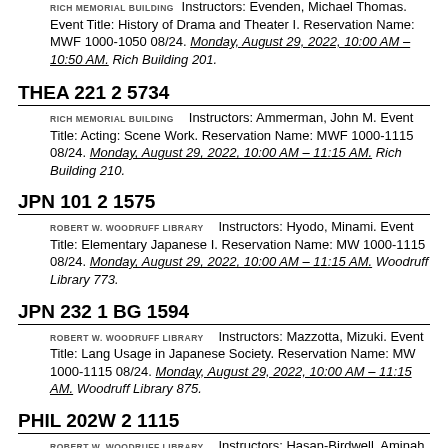RICH MEMORIAL BUILDING  Instructors: Evenden, Michael Thomas. Event Title: History of Drama and Theater I. Reservation Name: MWF 1000-1050 08/24. Monday, August 29, 2022, 10:00 AM – 10:50 AM. Rich Building 201.
THEA 221 2 5734
RICH MEMORIAL BUILDING  Instructors: Ammerman, John M. Event Title: Acting: Scene Work. Reservation Name: MWF 1000-1115 08/24. Monday, August 29, 2022, 10:00 AM – 11:15 AM. Rich Building 210.
JPN 101 2 1575
ROBERT W. WOODRUFF LIBRARY  Instructors: Hyodo, Minami. Event Title: Elementary Japanese I. Reservation Name: MW 1000-1115 08/24. Monday, August 29, 2022, 10:00 AM – 11:15 AM. Woodruff Library 773.
JPN 232 1 BG 1594
ROBERT W. WOODRUFF LIBRARY  Instructors: Mazzotta, Mizuki. Event Title: Lang Usage in Japanese Society. Reservation Name: MW 1000-1115 08/24. Monday, August 29, 2022, 10:00 AM – 11:15 AM. Woodruff Library 875.
PHIL 202W 2 1115
ROBERT W. WOODRUFF LIBRARY  Instructors: Hasan-Birdwell, Aminah ; Iradukunda, Scholastique. Event Title: Renaissance &Modern Philosophy. Reservation Name: MW 1000-1115 08/24. Monday, August 29, 2022, 10:00 AM – 11:15 AM. Woodruff Library 422.